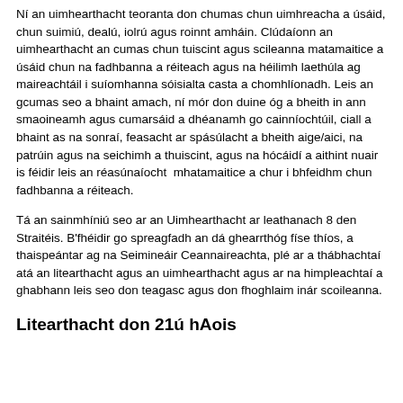Ní an uimhearthacht teoranta don chumas chun uimhreacha a úsáid, chun suimiú, dealú, iolrú agus roinnt amháin. Clúdaíonn an uimhearthacht an cumas chun tuiscint agus scileanna matamaitice a úsáid chun na fadhbanna a réiteach agus na héilimh laethúla ag maireachtáil i suíomhanna sóisialta casta a chomhlíonadh. Leis an gcumas seo a bhaint amach, ní mór don duine óg a bheith in ann smaoineamh agus cumarsáid a dhéanamh go cainníochtúil, ciall a bhaint as na sonraí, feasacht ar spásúlacht a bheith aige/aici, na patrúin agus na seichimh a thuiscint, agus na hócáidí a aithint nuair is féidir leis an réasúnaíocht mhatamaitice a chur i bhfeidhm chun fadhbanna a réiteach.
Tá an sainmhíniú seo ar an Uimhearthacht ar leathanach 8 den Straitéis. B'fhéidir go spreagfadh an dá ghearrthóg físe thíos, a thaispeántar ag na Seimineáir Ceannaireachta, plé ar a thábhachtaí atá an litearthacht agus an uimhearthacht agus ar na himpleachtaí a ghabhann leis seo don teagasc agus don fhoghlaim inár scoileanna.
Litearthacht don 21ú hAois